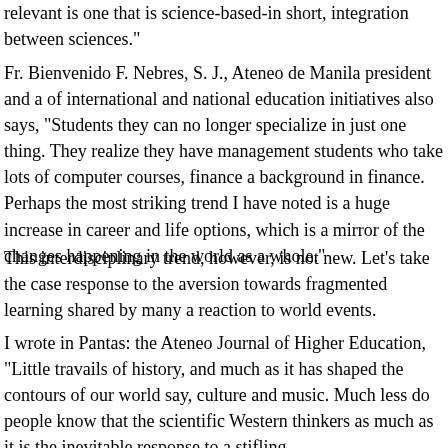relevant is one that is science-based-in short, integration between sciences."
Fr. Bienvenido F. Nebres, S. J., Ateneo de Manila president and a of international and national education initiatives also says, "Students they can no longer specialize in just one thing. They realize they have management students who take lots of computer courses, finance a background in finance. Perhaps the most striking trend I have noted is a huge increase in career and life options, which is a mirror of the changes happening in the world as a whole."
This interdisciplinary trend, however, is not new. Let’s take the case response to the aversion towards fragmented learning shared by many a reaction to world events.
I wrote in Pantas: the Ateneo Journal of Higher Education, “Little travails of history, and much as it has shaped the contours of our world say, culture and music. Much less do people know that the scientific Western thinkers as much as it is the inevitable response to a stifling